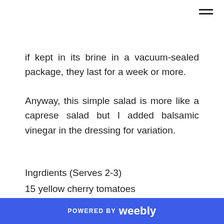if kept in its brine in a vacuum-sealed package, they last for a week or more.
Anyway, this simple salad is more like a caprese salad but I added balsamic vinegar in the dressing for variation.
Ingrdients (Serves 2-3)
15 yellow cherry tomatoes
15 red cherry tomatoes
16 mini mozarella balls
POWERED BY weebly